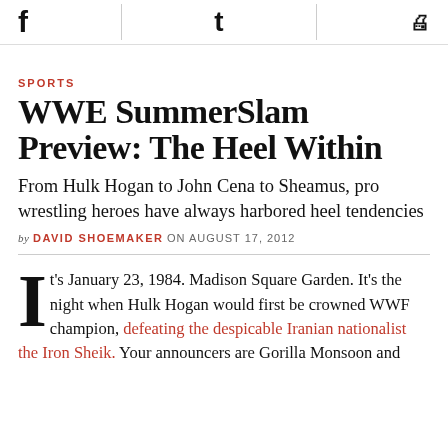[Social share icons: Facebook, Twitter, Print]
SPORTS
WWE SummerSlam Preview: The Heel Within
From Hulk Hogan to John Cena to Sheamus, pro wrestling heroes have always harbored heel tendencies
by DAVID SHOEMAKER ON AUGUST 17, 2012
It's January 23, 1984. Madison Square Garden. It's the night when Hulk Hogan would first be crowned WWF champion, defeating the despicable Iranian nationalist the Iron Sheik. Your announcers are Gorilla Monsoon and